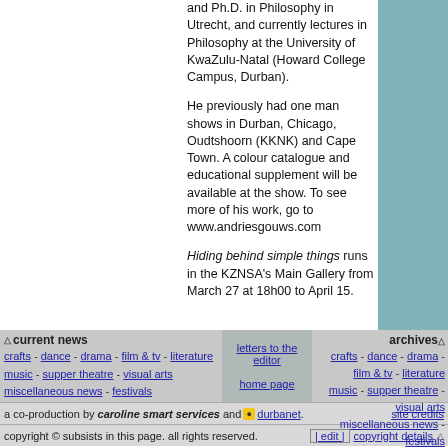and Ph.D. in Philosophy in Utrecht, and currently lectures in Philosophy at the University of KwaZulu-Natal (Howard College Campus, Durban).
He previously had one man shows in Durban, Chicago, Oudtshoorn (KKNK) and Cape Town. A colour catalogue and educational supplement will be available at the show. To see more of his work, go to www.andriesgouws.com
Hiding behind simple things runs in the KZNSA's Main Gallery from March 27 at 18h00 to April 15.
current news | archives | crafts - dance - drama - film & tv - literature - music - supper theatre - visual arts - miscellaneous news - festivals | letters to the editor | home page | crafts - dance - drama - film & tv - literature - music - supper theatre - visual arts - miscellaneous news - festivals
a co-production by caroline smart services and durbanet. | site credits
copyright © subsists in this page. all rights reserved. | edit | copyright details